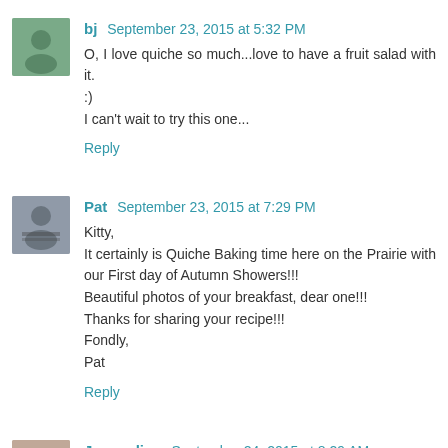bj  September 23, 2015 at 5:32 PM
O, I love quiche so much...love to have a fruit salad with it. :)
I can't wait to try this one...
Reply
Pat  September 23, 2015 at 7:29 PM
Kitty,
It certainly is Quiche Baking time here on the Prairie with our First day of Autumn Showers!!!
Beautiful photos of your breakfast, dear one!!!
Thanks for sharing your recipe!!!
Fondly,
Pat
Reply
Jacqueline  September 24, 2015 at 8:29 AM